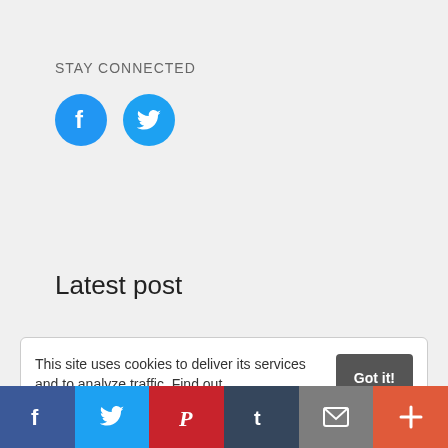STAY CONNECTED
[Figure (illustration): Two circular social media icons: Facebook (blue circle with white 'f' logo) and Twitter (blue circle with white bird logo)]
Latest post
This site uses cookies to deliver its services and to analyze traffic. Find out
[Figure (infographic): Share bar with six colored buttons: Facebook (dark blue, f), Twitter (light blue, bird), Pinterest (red, P), Tumblr (dark navy, t), Email (grey, envelope), More (orange-red, +)]